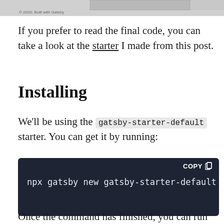[Figure (screenshot): Partial top edge of a webpage screenshot showing a Gatsby site, with a small copyright caption '© 2020. Built with Gatsby']
If you prefer to read the final code, you can take a look at the starter I made from this post.
Installing
We'll be using the gatsby-starter-default starter. You can get it by running:
npx gatsby new gatsby-starter-default htt
Once the command has finished, you can run the